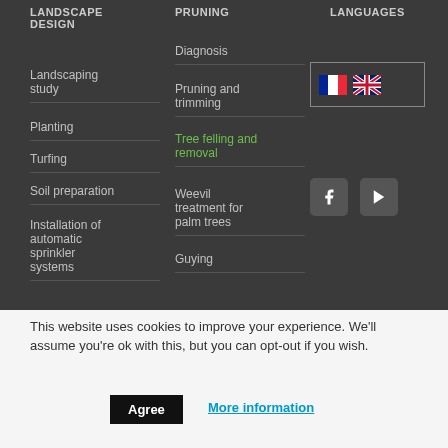LANDSCAPE DESIGN
PRUNING
LANGUAGES
Landscaping study
Planting
Turfing
Soil preparation
Installation of automatic sprinkler systems
Diagnosis
Pruning and trimming
Tree felling and removal
Weevil treatment for palm trees
Guying
[Figure (illustration): French and UK flag icons inside a bordered box]
[Figure (illustration): Facebook icon (f) square button]
[Figure (illustration): YouTube play button square button]
This website uses cookies to improve your experience. We'll assume you're ok with this, but you can opt-out if you wish.
Agree
More information